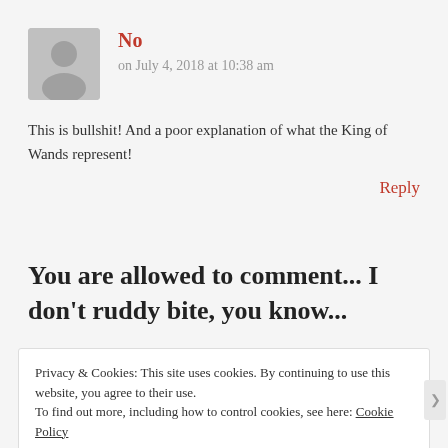No
on July 4, 2018 at 10:38 am
This is bullshit! And a poor explanation of what the King of Wands represent!
Reply
You are allowed to comment... I don't ruddy bite, you know...
Privacy & Cookies: This site uses cookies. By continuing to use this website, you agree to their use.
To find out more, including how to control cookies, see here: Cookie Policy
Close and accept